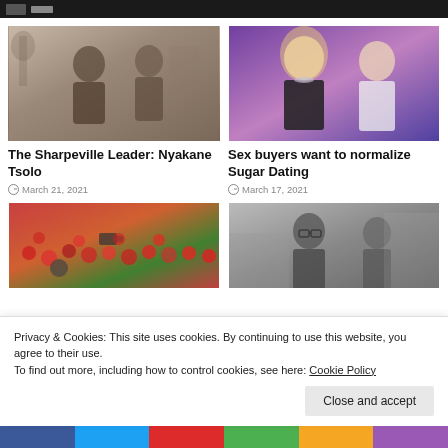[Figure (photo): Black and white vintage photo of two men in suits standing outside a building with trees]
The Sharpeville Leader: Nyakane Tsolo
March 21, 2021
[Figure (photo): Color photo of a blonde woman and an older man at an event with purple background lighting]
Sex buyers want to normalize Sugar Dating
March 17, 2021
[Figure (photo): Color photo of a large crowd with people in red shirts and media cameras]
[Figure (photo): Black and white photo of two men, one wearing glasses]
Privacy & Cookies: This site uses cookies. By continuing to use this website, you agree to their use.
To find out more, including how to control cookies, see here: Cookie Policy
Close and accept